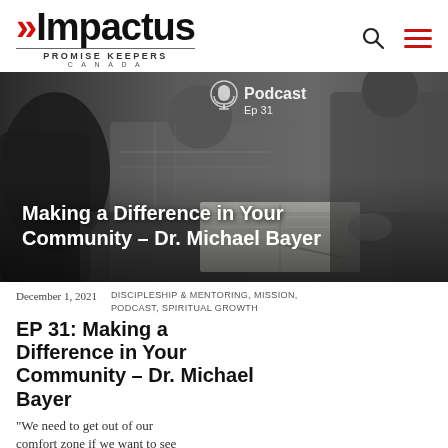[Figure (logo): Impactus Promise Keepers Canada logo with red chevron and wordmark]
[Figure (photo): Black and white photo of men sitting around a table with an open book, podcast episode 31 overlay text reading 'Making a Difference in Your Community – Dr. Michael Bayer']
December 1, 2021
DISCIPLESHIP & MENTORING, MISSION, PODCAST, SPIRITUAL GROWTH
EP 31: Making a Difference in Your Community – Dr. Michael Bayer
“We need to get out of our comfort zone if we want to see God at work.” Dr. we need to get out of our comfort zone if we want to see